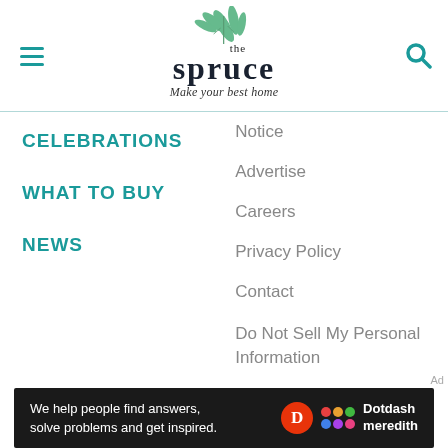the spruce — Make your best home
CELEBRATIONS
WHAT TO BUY
NEWS
Notice
Advertise
Careers
Privacy Policy
Contact
Do Not Sell My Personal Information
[Figure (infographic): Dotdash Meredith ad banner: 'We help people find answers, solve problems and get inspired.']